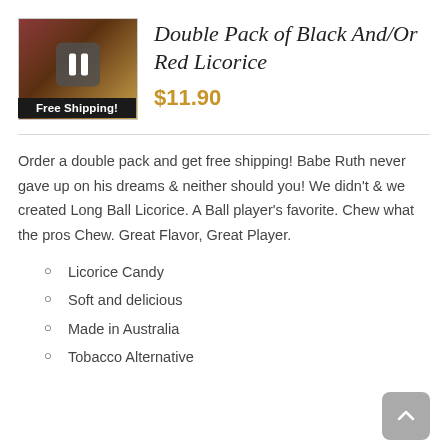[Figure (photo): Product image of Double Pack Black/Red Licorice with a pause overlay button and Free Shipping badge]
Double Pack of Black And/Or Red Licorice
$11.90
Order a double pack and get free shipping! Babe Ruth never gave up on his dreams & neither should you! We didn't & we created Long Ball Licorice. A Ball player's favorite. Chew what the pros Chew. Great Flavor, Great Player.
Licorice Candy
Soft and delicious
Made in Australia
Tobacco Alternative